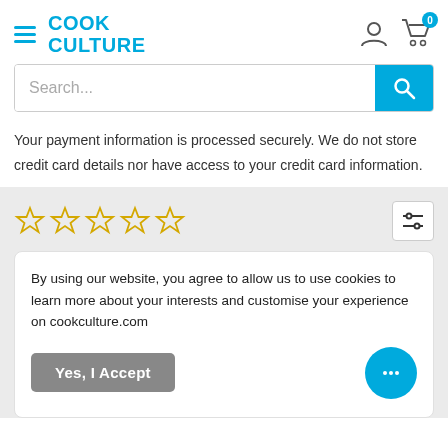[Figure (logo): Cook Culture logo in blue with hamburger menu icon]
[Figure (screenshot): Search bar with blue search button]
Your payment information is processed securely. We do not store credit card details nor have access to your credit card information.
[Figure (infographic): Five empty gold star rating icons and a filter/settings icon]
By using our website, you agree to allow us to use cookies to learn more about your interests and customise your experience on cookculture.com
[Figure (screenshot): Yes, I Accept button (grey) and chat bubble button (blue)]